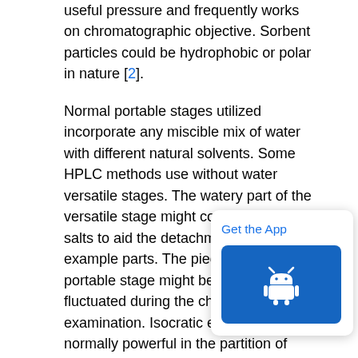useful pressure and frequently works on chromatographic objective. Sorbent particles could be hydrophobic or polar in nature [2].
Normal portable stages utilized incorporate any miscible mix of water with different natural solvents. Some HPLC methods use without water versatile stages. The watery part of the versatile stage might contain acids or salts to aid the detachment of the example parts. The piece of the portable stage might be kept steady or fluctuated during the chromatographic examination. Isocratic elution is normally powerful in the partition of test parts that are altogether different in their proclivity for the fixed stage. In angle elution the piece of the portable stage is fluctuated ordinarily from low to high eluting strength. The eluting quality of the helpful organic is reflected by analyte upkeep times with tall quality passing on fast elution. An average increasing profile in turned around stage chromatography may begin at 5% acetonitrile and progress straightly to 95% acetonitrile more than 5.25 minutes. Times of
[Figure (other): Get the App popup with Android app icon button]